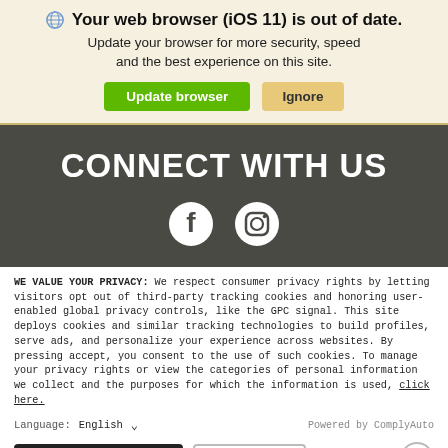Your web browser (iOS 11) is out of date. Update your browser for more security, speed and the best experience on this site.
Update browser | Ignore
CONNECT WITH US
[Figure (illustration): Facebook and Instagram social media icons in white on dark grey background]
WE VALUE YOUR PRIVACY: We respect consumer privacy rights by letting visitors opt out of third-party tracking cookies and honoring user-enabled global privacy controls, like the GPC signal. This site deploys cookies and similar tracking technologies to build profiles, serve ads, and personalize your experience across websites. By pressing accept, you consent to the use of such cookies. To manage your privacy rights or view the categories of personal information we collect and the purposes for which the information is used, click here.
Language: English  ✓  Powered by ComplyAuto
Accept and Continue →  | Privacy Policy | ×